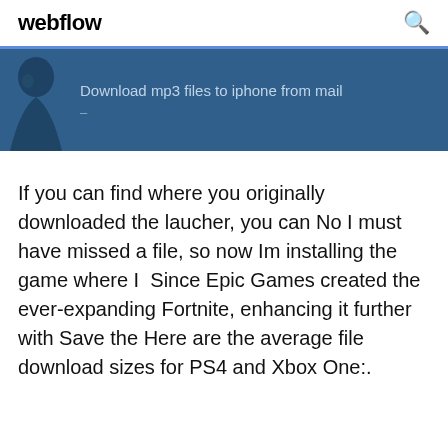webflow
[Figure (illustration): Dark blue banner with a partially visible blue abstract figure/silhouette on the left and the text 'Download mp3 files to iphone from mail' in light color]
If you can find where you originally downloaded the laucher, you can No I must have missed a file, so now Im installing the game where I  Since Epic Games created the ever-expanding Fortnite, enhancing it further with Save the Here are the average file download sizes for PS4 and Xbox One:.